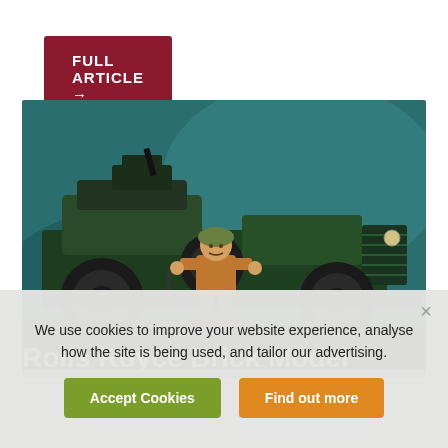FULL ARTICLE →
[Figure (photo): A LEGO-style brick model of a vintage military Rolls Royce vehicle in dark green, with a soldier minifigure standing in front holding a weapon, photographed against a dark teal background.]
Rolls Royce Brick Model
We use cookies to improve your website experience, analyse how the site is being used, and tailor our advertising.
Accept Cookies
Find out more